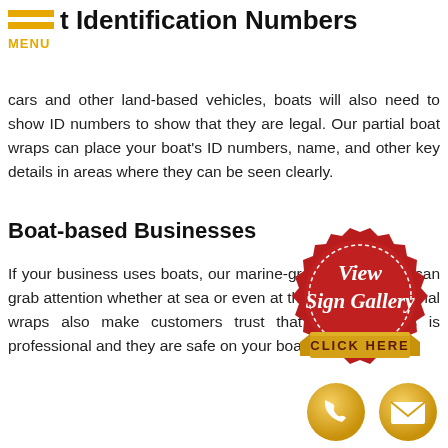t Identification Numbers
cars and other land-based vehicles, boats will also need to show ID numbers to show that they are legal. Our partial boat wraps can place your boat's ID numbers, name, and other key details in areas where they can be seen clearly.
Boat-based Businesses
If your business uses boats, our marine-grade vinyl wraps can grab attention whether at sea or even at the dock. Professional wraps also make customers trust that your business is professional and they are safe on your boat.
[Figure (illustration): Red wax seal badge with white text reading 'View Sign Gallery' and a gold banner ribbon at the bottom reading 'CLICK HERE']
[Figure (illustration): Two circular gold icon buttons: a phone handset icon and an envelope/email icon]